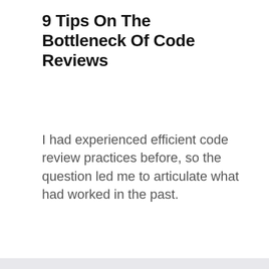9 Tips On The Bottleneck Of Code Reviews
I had experienced efficient code review practices before, so the question led me to articulate what had worked in the past.